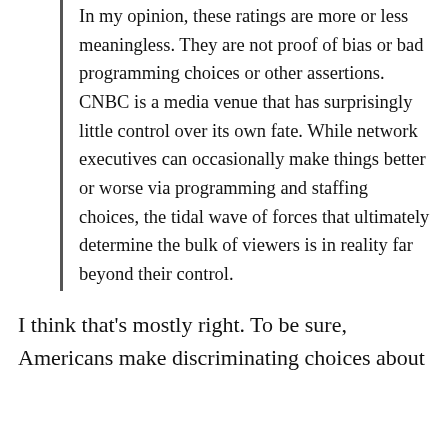In my opinion, these ratings are more or less meaningless. They are not proof of bias or bad programming choices or other assertions. CNBC is a media venue that has surprisingly little control over its own fate. While network executives can occasionally make things better or worse via programming and staffing choices, the tidal wave of forces that ultimately determine the bulk of viewers is in reality far beyond their control.
I think that's mostly right. To be sure, Americans make discriminating choices about